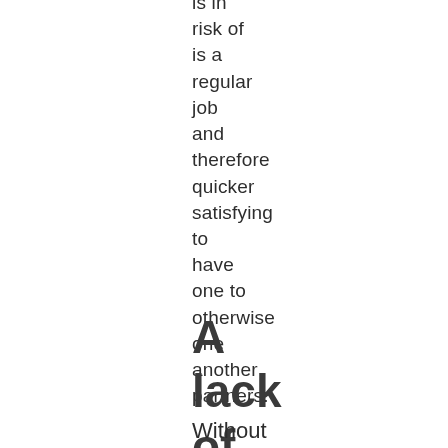is in
risk of
is a
regular
job
and
therefore
quicker
satisfying
to
have
one to
otherwise
one
another
partners.
A
lack
of
closeness
Without
intimacy...